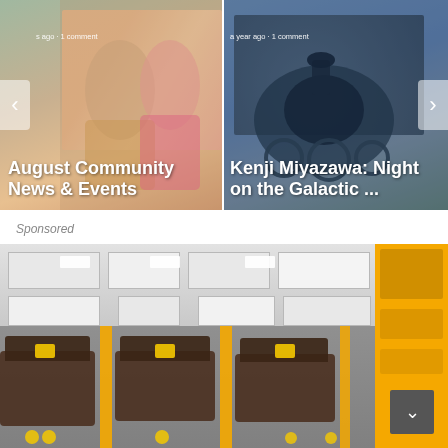[Figure (screenshot): Carousel card showing people at a community event, with text overlay: 's ago • 1 comment' and title 'August Community News & Events'. Left navigation arrow visible.]
[Figure (screenshot): Carousel card showing a steam locomotive, with text overlay: 'a year ago • 1 comment' and title 'Kenji Miyazawa: Night on the Galactic ...'. Right navigation arrow visible.]
Sponsored
[Figure (photo): Interior of a furniture store with rows of sofas and chairs, yellow price tags, yellow columns, drop ceiling with recessed lighting panels, and a bright yellow banner strip on the right side. A scroll-to-top button is visible in the bottom right corner.]